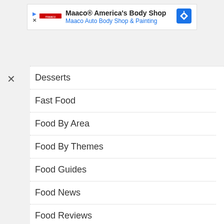[Figure (screenshot): Maaco advertisement banner with logo, play and close icons, navigation icon. Text: Maaco® America's Body Shop / Maaco Auto Body Shop & Painting]
Desserts
Fast Food
Food By Area
Food By Themes
Food Guides
Food News
Food Reviews
Fusion
Halal
Hawker Interviews
Hawker Reviews